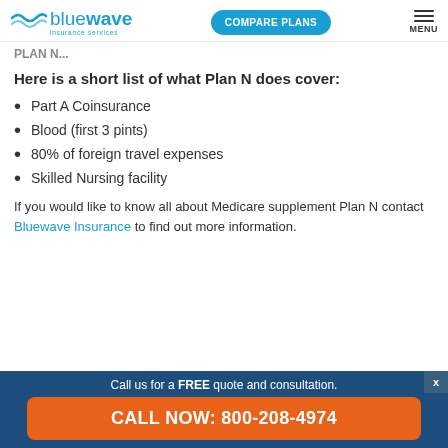Bluewave Insurance Services | COMPARE PLANS | MENU
PLAN N...
Here is a short list of what Plan N does cover:
Part A Coinsurance
Blood (first 3 pints)
80% of foreign travel expenses
Skilled Nursing facility
If you would like to know all about Medicare supplement Plan N contact Bluewave Insurance to find out more information.
Call us for a FREE quote and consultation. CALL NOW: 800-208-4974